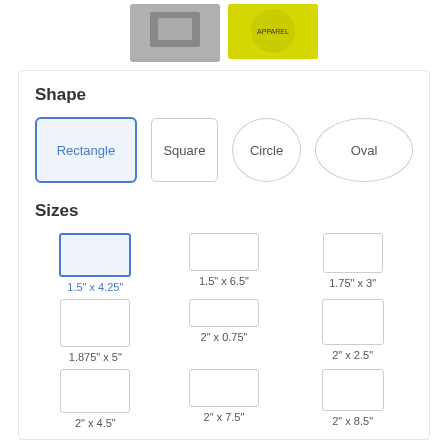[Figure (screenshot): Top product images showing two product thumbnails]
Shape
Rectangle, Square, Circle, Oval shape options with Rectangle selected
Sizes
Size options: 1.5" x 4.25" (selected), 1.5" x 6.5", 1.75" x 3", 1.875" x 5", 2" x 0.75", 2" x 2.5", 2" x 4.5", 2" x 7.5", 2" x 8.5"